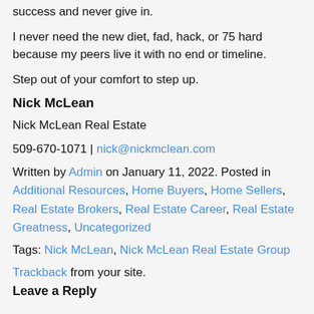success and never give in.
I never need the new diet, fad, hack, or 75 hard because my peers live it with no end or timeline.
Step out of your comfort to step up.
Nick McLean
Nick McLean Real Estate
509-670-1071 | nick@nickmclean.com
Written by Admin on January 11, 2022. Posted in Additional Resources, Home Buyers, Home Sellers, Real Estate Brokers, Real Estate Career, Real Estate Greatness, Uncategorized
Tags: Nick McLean, Nick McLean Real Estate Group
Trackback from your site.
Leave a Reply